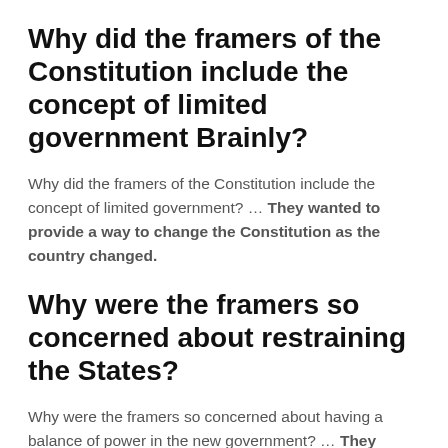Why did the framers of the Constitution include the concept of limited government Brainly?
Why did the framers of the Constitution include the concept of limited government? … They wanted to provide a way to change the Constitution as the country changed.
Why were the framers so concerned about restraining the States?
Why were the framers so concerned about having a balance of power in the new government? … They designed their new government to be a federal government so that the states had